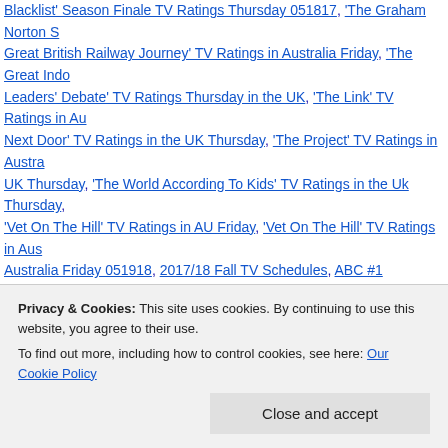Blacklist' Season Finale TV Ratings Thursday 051817, 'The Graham Norton Show', 'Great British Railway Journey' TV Ratings in Australia Friday, 'The Great Indo... Leaders' Debate' TV Ratings Thursday in the UK, 'The Link' TV Ratings in Au... Next Door' TV Ratings in the UK Thursday, 'The Project' TV Ratings in Austra... UK Thursday, 'The World According To Kids' TV Ratings in the Uk Thursday, ... 'Vet On The Hill' TV Ratings in AU Friday, 'Vet On The Hill' TV Ratings in Aus... Australia Friday 051918, 2017/18 Fall TV Schedules, ABC #1 Thursday 0518..., ABC TV Ratings Thursday, BBC One TV Ratings in the UK Thursday, BBC T... Broadcast (English Language) Networks down -1.1% Thursday 051817 vs SD... Ratings Thursday, Channel 4 TV Ratings in the UK Thursday, Channel 5 TV R... eMail Is Not Dead!, FOX TV Ratings Thursday, GEM TV Ratings in Australia... Thursday, ION TV Ratings Thursday, ITV TV Ratings in the UK Thursday, La... Nine TV Ratings in Australia Friday, SBS TV Ratings in Australia Friday, Sca... 'Saint Judy' adds Common, Seven #1 broadcast network in Australia Friday 0... Friday, Slum Landlords' TV Ratings in the Uk Thursday, TEL TV Ratings Thu... Ten TV Ratings in Australia Friday, The Big Bang Theory TV Ratings Thursda... CW TV Ratings Thursday, The Living Room TV Ratings in Australia Friday, U... UNI TV Ratings Thursday | Leave a comment
Privacy & Cookies: This site uses cookies. By continuing to use this website, you agree to their use. To find out more, including how to control cookies, see here: Our Cookie Policy
Close and accept